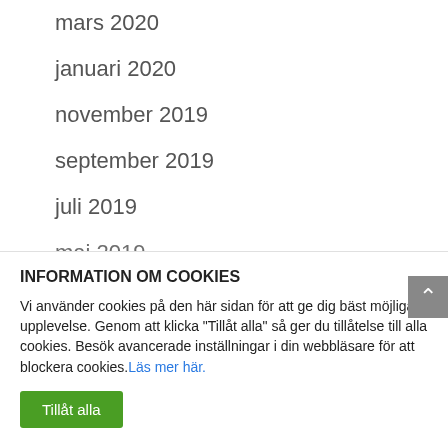mars 2020
januari 2020
november 2019
september 2019
juli 2019
maj 2019
INFORMATION OM COOKIES
Vi använder cookies på den här sidan för att ge dig bäst möjliga upplevelse. Genom att klicka "Tillåt alla" så ger du tillåtelse till alla cookies. Besök avancerade inställningar i din webbläsare för att blockera cookies. Läs mer här.